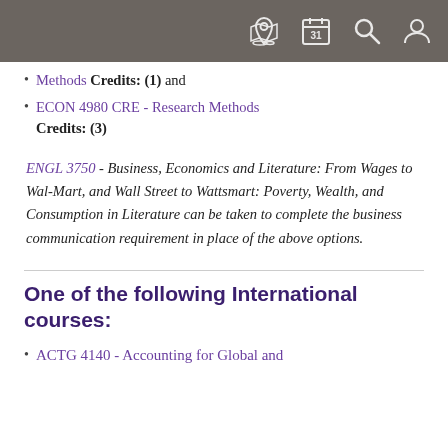[Navigation bar with icons: map, calendar (31), search, user]
ECON 4970 - Introduction to Research Methods Credits: (1) and
ECON 4980 CRE - Research Methods Credits: (3)
ENGL 3750 - Business, Economics and Literature: From Wages to Wal-Mart, and Wall Street to Wattsmart: Poverty, Wealth, and Consumption in Literature can be taken to complete the business communication requirement in place of the above options.
One of the following International courses:
ACTG 4140 - Accounting for Global and